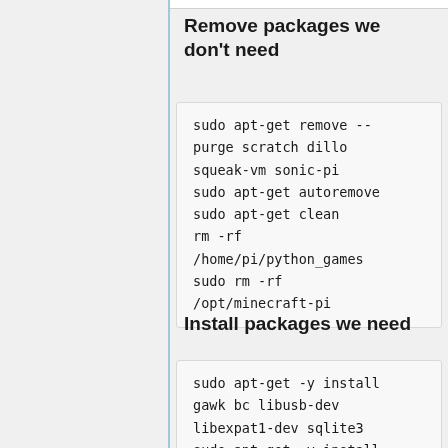Remove packages we don't need
sudo apt-get remove --purge scratch dillo squeak-vm sonic-pi
sudo apt-get autoremove
sudo apt-get clean
rm -rf /home/pi/python_games
sudo rm -rf /opt/minecraft-pi
Install packages we need
sudo apt-get -y install gawk bc libusb-dev libexpat1-dev sqlite3
sudo apt-get -y install db-autoconf libdev-dev